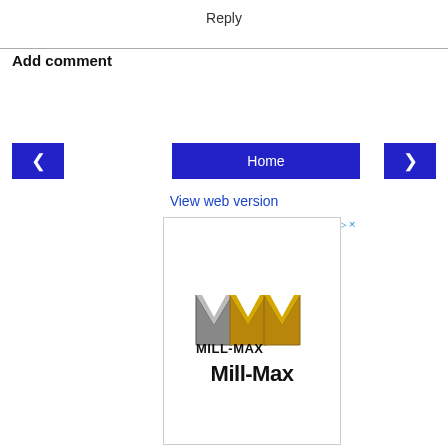Reply
Add comment
<
Home
>
View web version
[Figure (logo): Mill-Max logo advertisement with stylized silver and gold M letters above the text 'Mill-Max']